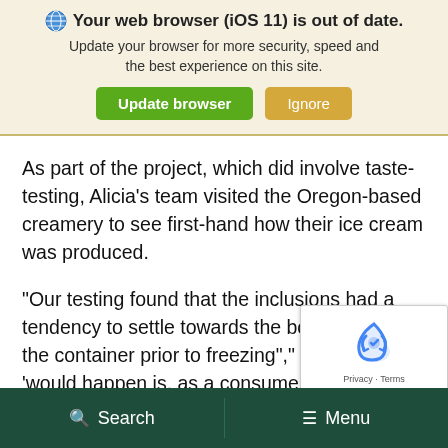[Figure (screenshot): Browser update notification banner with globe icon, bold text '🌐 Your web browser (iOS 11) is out of date.', subtitle text, and two buttons: green 'Update browser' and tan 'Ignore'.]
As part of the project, which did involve taste-testing, Alicia's team visited the Oregon-based creamery to see first-hand how their ice cream was produced.
“Our testing found that the inclusions had a tendency to settle towards the bottom half of the container prior to freezing”,” she said. ‘would happen is, as a consumer, you’re dig into the ice cream container and you’re like ‘l
Search   Menu